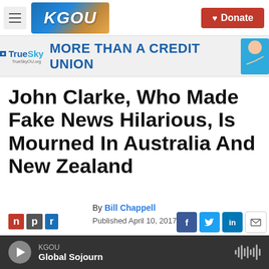[Figure (screenshot): KGOU radio station website header with logo, hamburger menu, and red Donate button]
[Figure (screenshot): TrueSky Credit Union advertisement banner: MORE THAN A CREDIT UNION]
John Clarke, Who Made Fake News Hilarious, Is Mourned In Australia And New Zealand
By Bill Chappell
Published April 10, 2017
[Figure (logo): NPR logo with n, p, r letters in red, grey, and blue boxes]
[Figure (screenshot): Social sharing buttons: Facebook, Twitter, LinkedIn, Email]
KGOU Global Sojourn